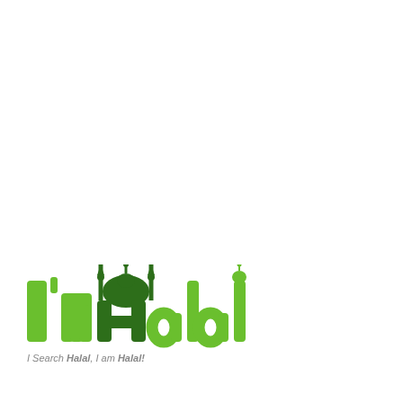[Figure (logo): I'm Halal logo — stylized green text reading "I'm Halal" with mosque/minaret silhouette built into the letters, and tagline "I Search Halal, I am Halal!" below]